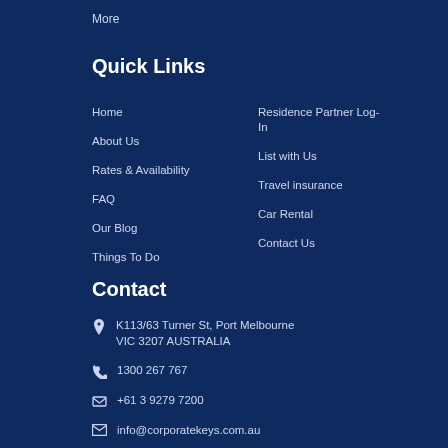More
Quick Links
Home
About Us
Rates & Availability
FAQ
Our Blog
Things To Do
Residence Partner Log-In
List with Us
Travel insurance
Car Rental
Contact Us
Contact
K113/63 Turner St, Port Melbourne VIC 3207 AUSTRALIA
1300 267 767
+61 3 9279 7200
info@corporatekeys.com.au